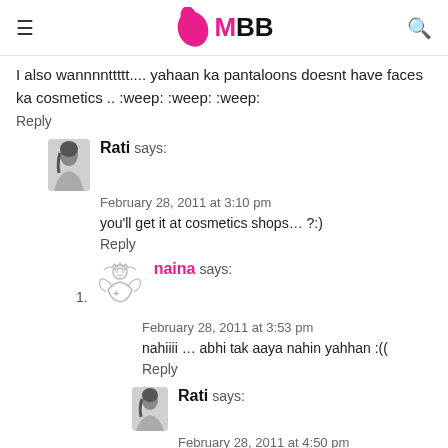IMBB
I also wannnnttttt.... yahaan ka pantaloons doesnt have faces ka cosmetics .. :weep: :weep: :weep:
Reply
Rati says:
February 28, 2011 at 3:10 pm
you'll get it at cosmetics shops… ?:)
Reply
naina says:
February 28, 2011 at 3:53 pm
nahiiii … abhi tak aaya nahin yahhan :((
Reply
Rati says:
February 28, 2011 at 4:50 pm